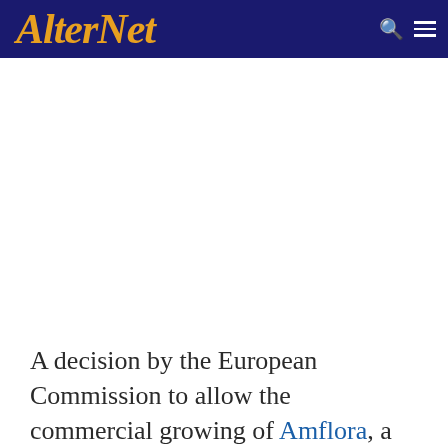AlterNet
A decision by the European Commission to allow the commercial growing of Amflora, a